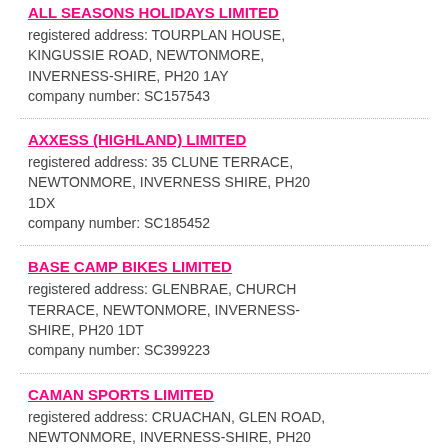ALL SEASONS HOLIDAYS LIMITED
registered address: TOURPLAN HOUSE, KINGUSSIE ROAD, NEWTONMORE, INVERNESS-SHIRE, PH20 1AY
company number: SC157543
AXXESS (HIGHLAND) LIMITED
registered address: 35 CLUNE TERRACE, NEWTONMORE, INVERNESS SHIRE, PH20 1DX
company number: SC185452
BASE CAMP BIKES LIMITED
registered address: GLENBRAE, CHURCH TERRACE, NEWTONMORE, INVERNESS-SHIRE, PH20 1DT
company number: SC399223
CAMAN SPORTS LIMITED
registered address: CRUACHAN, GLEN ROAD, NEWTONMORE, INVERNESS-SHIRE, PH20...